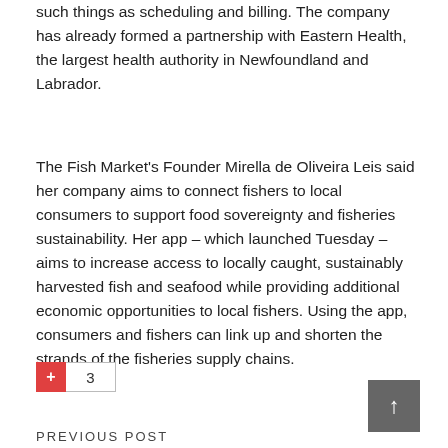such things as scheduling and billing. The company has already formed a partnership with Eastern Health, the largest health authority in Newfoundland and Labrador.
The Fish Market's Founder Mirella de Oliveira Leis said her company aims to connect fishers to local consumers to support food sovereignty and fisheries sustainability. Her app – which launched Tuesday – aims to increase access to locally caught, sustainably harvested fish and seafood while providing additional economic opportunities to local fishers. Using the app, consumers and fishers can link up and shorten the strands of the fisheries supply chains.
+ 3
[Figure (other): Scroll to top button with upward arrow, dark gray background]
PREVIOUS POST